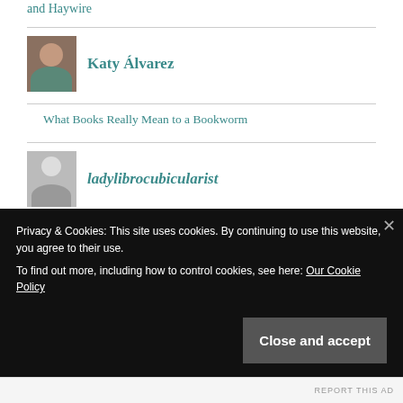and Haywire
Katy Álvarez
What Books Really Mean to a Bookworm
ladylibrocubicularist
Beauty and the Beast Movie: SEVEN BOOKISH THINGS TO HELP YOU SURVIVE UNTIL MARCH 17th
Privacy & Cookies: This site uses cookies. By continuing to use this website, you agree to their use. To find out more, including how to control cookies, see here: Our Cookie Policy
Close and accept